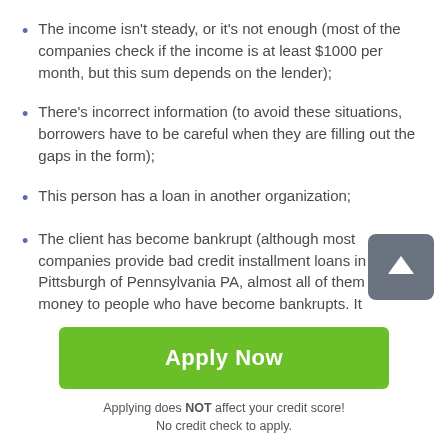The income isn't steady, or it's not enough (most of the companies check if the income is at least $1000 per month, but this sum depends on the lender);
There's incorrect information (to avoid these situations, borrowers have to be careful when they are filling out the gaps in the form);
This person has a loan in another organization;
The client has become bankrupt (although most companies provide bad credit installment loans in Pittsburgh of Pennsylvania PA, almost all of them give money to people who have become bankrupts. It...